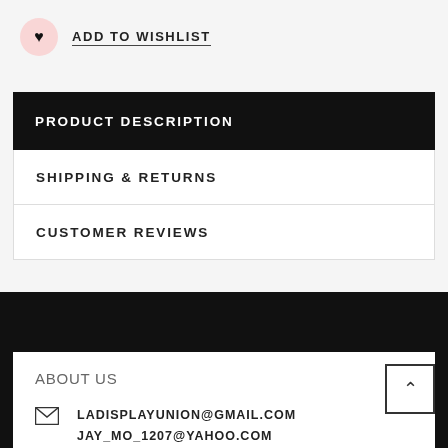ADD TO WISHLIST
PRODUCT DESCRIPTION
SHIPPING & RETURNS
CUSTOMER REVIEWS
ABOUT US
LADISPLAYUNION@GMAIL.COM JAY_MO_1207@YAHOO.COM